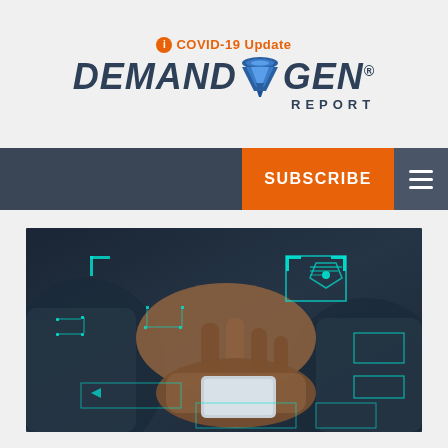COVID-19 Update — Demand Gen Report
[Figure (logo): Demand Gen Report logo with COVID-19 Update badge above it]
[Figure (screenshot): Navigation bar with orange SUBSCRIBE button and hamburger menu icon on dark background]
[Figure (photo): Business person's hands using a smartphone with glowing cyan digital overlay graphics showing security/technology interface elements]